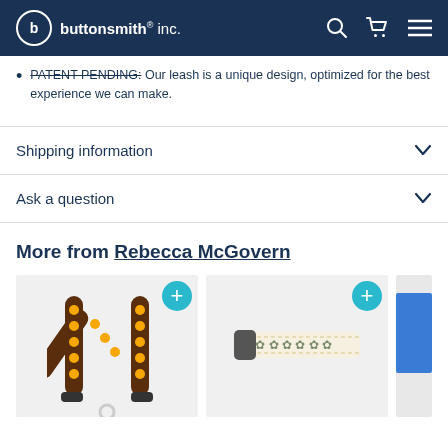buttonsmith® inc.
PATENT PENDING: Our leash is a unique design, optimized for the best experience we can make.
Shipping information
Ask a question
More from Rebecca McGovern
[Figure (photo): Sunflower pattern lanyard with black hardware forming an N shape, on light gray background]
[Figure (photo): Light cream colored dog collar with floral/botanical pattern and black buckle hardware]
[Figure (photo): Partial view of another product on the right edge]